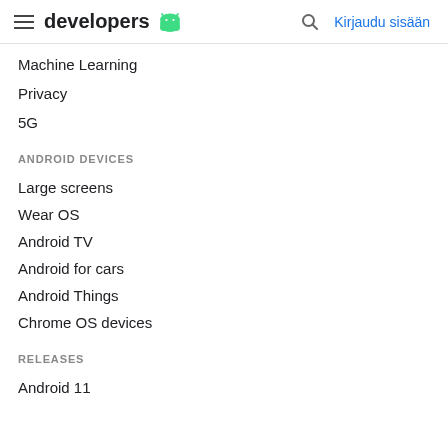developers Android | Kirjaudu sisään
Machine Learning
Privacy
5G
ANDROID DEVICES
Large screens
Wear OS
Android TV
Android for cars
Android Things
Chrome OS devices
RELEASES
Android 11